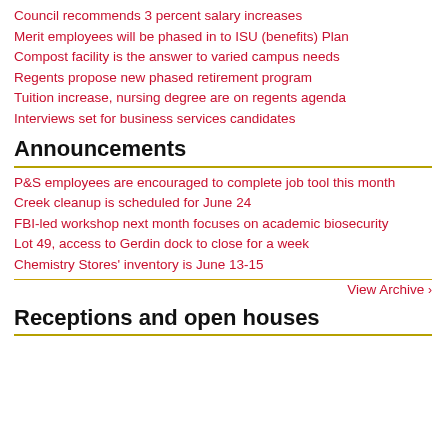Council recommends 3 percent salary increases
Merit employees will be phased in to ISU (benefits) Plan
Compost facility is the answer to varied campus needs
Regents propose new phased retirement program
Tuition increase, nursing degree are on regents agenda
Interviews set for business services candidates
Announcements
P&S employees are encouraged to complete job tool this month
Creek cleanup is scheduled for June 24
FBI-led workshop next month focuses on academic biosecurity
Lot 49, access to Gerdin dock to close for a week
Chemistry Stores' inventory is June 13-15
View Archive ›
Receptions and open houses